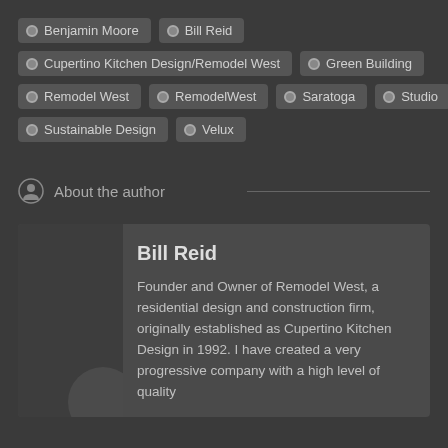Benjamin Moore
Bill Reid
Cupertino Kitchen Design/Remodel West
Green Building
Remodel West
RemodelWest
Saratoga
Studio
Sustainable Design
Velux
About the author
Bill Reid
Founder and Owner of Remodel West, a residential design and construction firm, originally established as Cupertino Kitchen Design in 1992. I have created a very progressive company with a high level of quality